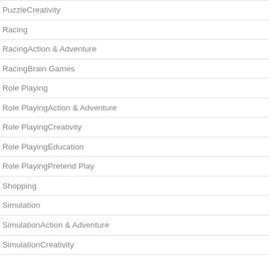PuzzleCreativity
Racing
RacingAction & Adventure
RacingBrain Games
Role Playing
Role PlayingAction & Adventure
Role PlayingCreativity
Role PlayingEducation
Role PlayingPretend Play
Shopping
Simulation
SimulationAction & Adventure
SimulationCreativity